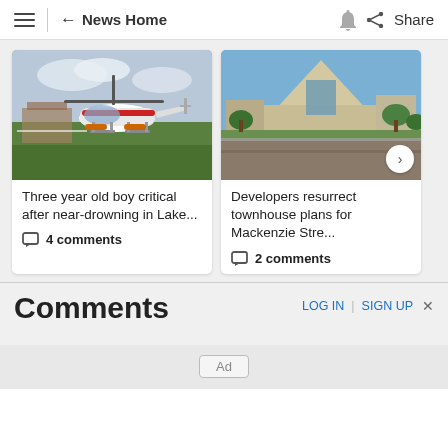News Home  Share
[Figure (photo): Red and white helicopter landing on green grass field with buildings in background]
Three year old boy critical after near-drowning in Lake...
4 comments
[Figure (photo): Modern building with triangular roof and street in foreground]
Developers resurrect townhouse plans for Mackenzie Stre...
2 comments
Comments
LOG IN  |  SIGN UP  ×
Ad